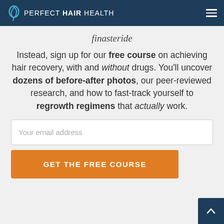PERFECT HAIR HEALTH
finasteride
Instead, sign up for our free course on achieving hair recovery, with and without drugs. You'll uncover dozens of before-after photos, our peer-reviewed research, and how to fast-track yourself to regrowth regimens that actually work.
Your email address
GET THE FREE COURSE